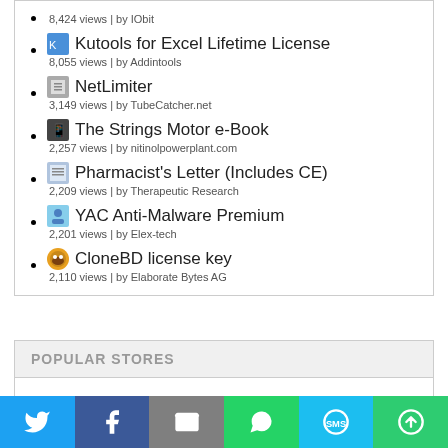8,424 views | by IObit
Kutools for Excel Lifetime License
8,055 views | by Addintools
NetLimiter
3,149 views | by TubeCatcher.net
The Strings Motor e-Book
2,257 views | by nitinolpowerplant.com
Pharmacist's Letter (Includes CE)
2,209 views | by Therapeutic Research
YAC Anti-Malware Premium
2,201 views | by Elex-tech
CloneBD license key
2,110 views | by Elaborate Bytes AG
POPULAR STORES
http://pole-image-nordpasdecalais.com/
http://componentwanted.com
http://www.updatewanted.com